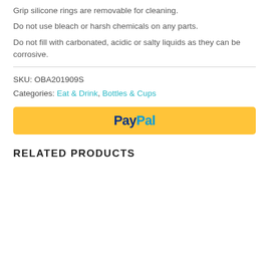Grip silicone rings are removable for cleaning.
Do not use bleach or harsh chemicals on any parts.
Do not fill with carbonated, acidic or salty liquids as they can be corrosive.
SKU: OBA201909S
Categories: Eat & Drink, Bottles & Cups
[Figure (logo): PayPal payment button with yellow background and PayPal logo in blue text]
RELATED PRODUCTS